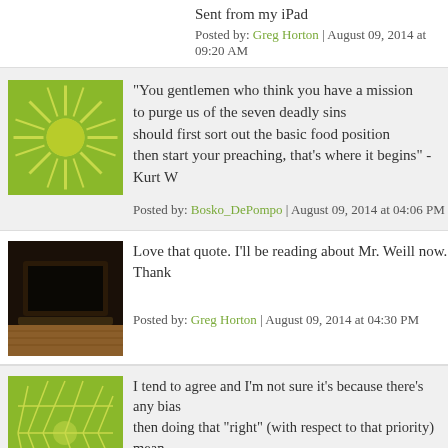Sent from my iPad
Posted by: Greg Horton | August 09, 2014 at 09:20 AM
"You gentlemen who think you have a mission to purge us of the seven deadly sins should first sort out the basic food position then start your preaching, that's where it begins" - Kurt W
Posted by: Bosko_DePompo | August 09, 2014 at 04:06 PM
Love that quote. I'll be reading about Mr. Weill now. Thank
Posted by: Greg Horton | August 09, 2014 at 04:30 PM
I tend to agree and I'm not sure it's because there's any bias then doing that "right" (with respect to that priority) mean like, and appealing instead to people's perceptions. You wa the resources actually doing good is irresponsible when yo maximize the number of asses in seats on Sunday. Contras actual sacred duty to make things better: they do that, the they have additional objectives, real allies will never have p